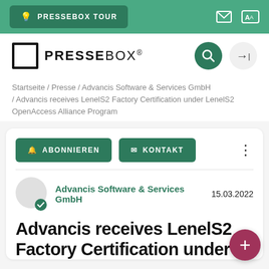PRESSEBOX TOUR
[Figure (logo): PresseBox logo with search and login icons]
Startseite / Presse / Advancis Software & Services GmbH / Advancis receives LenelS2 Factory Certification under LenelS2 OpenAccess Alliance Program
ABONNIEREN   KONTAKT
Advancis Software & Services GmbH   15.03.2022
Advancis receives LenelS2 Factory Certification under